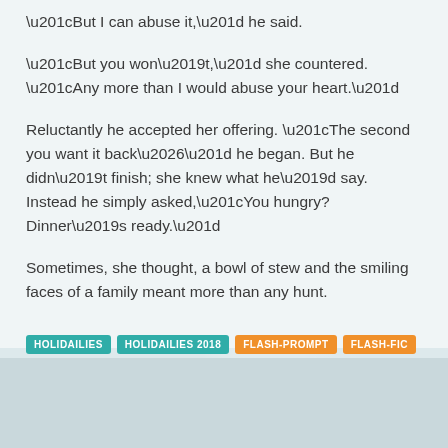“But I can abuse it,” he said.
“But you won’t,” she countered. “Any more than I would abuse your heart.”
Reluctantly he accepted her offering. “The second you want it back…” he began. But he didn’t finish; she knew what he’d say. Instead he simply asked,“You hungry? Dinner’s ready.”
Sometimes, she thought, a bowl of stew and the smiling faces of a family meant more than any hunt.
HOLIDAILIES HOLIDAILIES 2018 FLASH-PROMPT FLASH-FIC FLASH-FICTION HOLIDAILIES